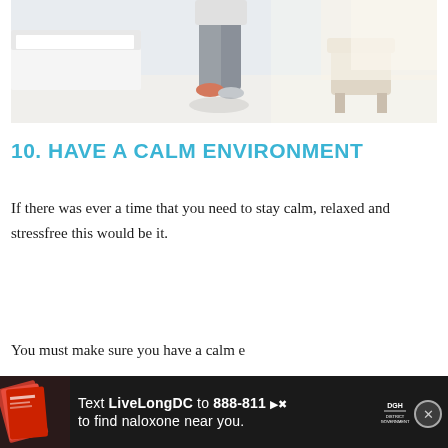[Figure (photo): Person standing in a bright bedroom near a white bed, wearing grey leggings and light shoes, with a chair visible in the background on the right side.]
10. HAVE A CALM ENVIRONMENT
If there was ever a time that you need to stay calm, relaxed and stressfree this would be it.
You must make sure you have a calm e…
[Figure (infographic): Advertisement banner: Text LiveLongDC to 888-811 to find naloxone near you. Black background with red/white imagery on left and DGH logo on right.]